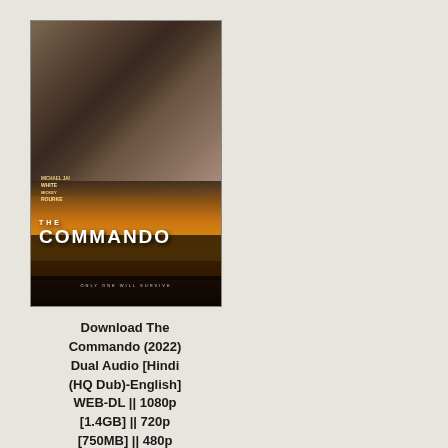[Figure (photo): Movie poster for 'The Commando' (2022) featuring two actors — one in a wide-brimmed hat with sunglasses, one in military gear with a helmet — above silhouetted soldiers against a fiery orange sky. Text reads: MICHAEL JAI WHITE, MICKEY ROURKE, THE COMMANDO, ONLY ONE WILL SURVIVE.]
Download The Commando (2022) Dual Audio [Hindi (HQ Dub)-English] WEB-DL || 1080p [1.4GB] || 720p [750MB] || 480p [300MB]